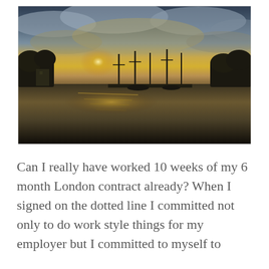[Figure (photo): A waterfront sunset scene with silhouetted masts and docks reflected on calm water, dramatic cloudy sky with golden light breaking through clouds, trees visible on the shores.]
Can I really have worked 10 weeks of my 6 month London contract already? When I signed on the dotted line I committed not only to do work style things for my employer but I committed to myself to